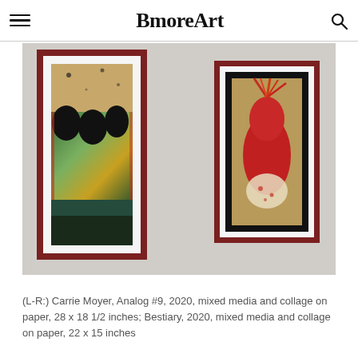BmoreArt
[Figure (photo): Two framed mixed media and collage artworks by Carrie Moyer hanging on a light gray gallery wall. Left artwork (Analog #9, 2020) features abstract green, black, and ochre drape-like shapes. Right artwork (Bestiary, 2020) shows a red and orange figurative creature against a dark background, both in dark red frames with white matting.]
(L-R:) Carrie Moyer, Analog #9, 2020, mixed media and collage on paper, 28 x 18 1/2 inches; Bestiary, 2020, mixed media and collage on paper, 22 x 15 inches